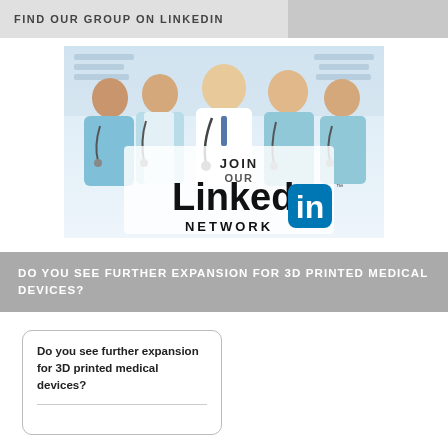FIND OUR GROUP ON LINKEDIN
[Figure (illustration): Group photo of medical professionals (doctors and nurses) with 'JOIN OUR LinkedIn NETWORK' text overlay and LinkedIn logo]
DO YOU SEE FURTHER EXPANSION FOR 3D PRINTED MEDICAL DEVICES?
Do you see further expansion for 3D printed medical devices?